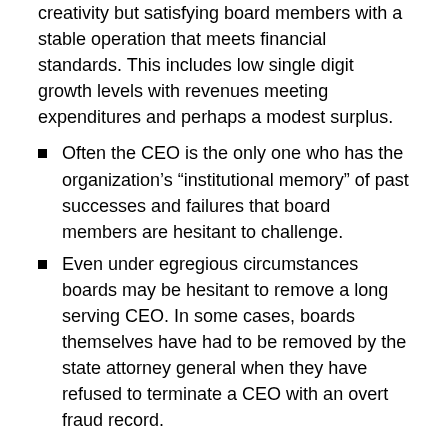creativity but satisfying board members with a stable operation that meets financial standards. This includes low single digit growth levels with revenues meeting expenditures and perhaps a modest surplus.
Often the CEO is the only one who has the organization’s “institutional memory” of past successes and failures that board members are hesitant to challenge.
Even under egregious circumstances boards may be hesitant to remove a long serving CEO. In some cases, boards themselves have had to be removed by the state attorney general when they have refused to terminate a CEO with an overt fraud record.
The CEO’s Behavior and Succession Planning.
In my opinion, most nonprofit boards will rarely replace a